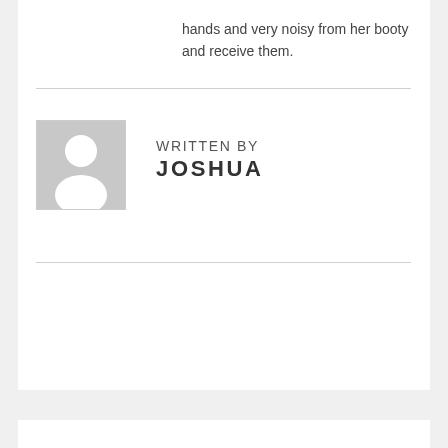hands and very noisy from her booty and receive them.
[Figure (illustration): Generic user avatar placeholder image: gray background with a white silhouette of a person (head and shoulders)]
WRITTEN BY
JOSHUA